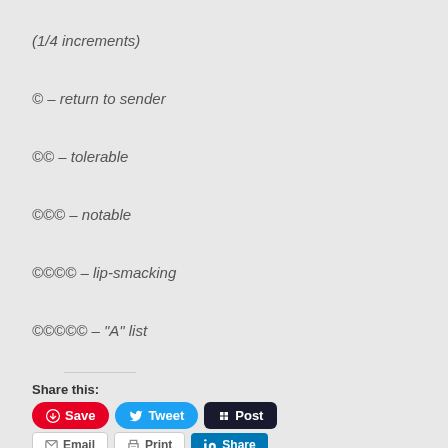(1/4 increments)
© – return to sender
©© – tolerable
©©© – notable
©©©© – lip-smacking
©©©©© – "A" list
Share this:
Save  Tweet  Post  Email  Print  Share